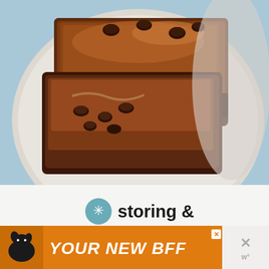[Figure (photo): Close-up photo of chocolate brownies with chocolate chips on a white plate, set on a blue background]
storing &
[Figure (infographic): Advertisement banner with orange background showing a dog silhouette and text YOUR NEW BFF with a close button and website logo]